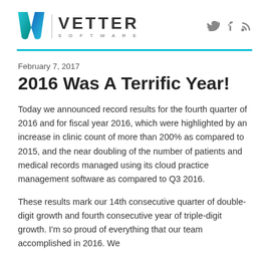[Figure (logo): Vetter Software logo with teal/blue V icon, vertical divider, VETTER SOFTWARE text, and social media icons (Twitter, Facebook, RSS)]
February 7, 2017
2016 Was A Terrific Year!
Today we announced record results for the fourth quarter of 2016 and for fiscal year 2016, which were highlighted by an increase in clinic count of more than 200% as compared to 2015, and the near doubling of the number of patients and medical records managed using its cloud practice management software as compared to Q3 2016.
These results mark our 14th consecutive quarter of double-digit growth and fourth consecutive year of triple-digit growth. I'm so proud of everything that our team accomplished in 2016. We